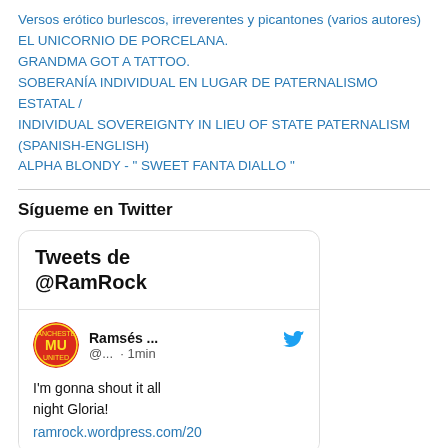Versos erótico burlescos, irreverentes y picantones (varios autores)
EL UNICORNIO DE PORCELANA.
GRANDMA GOT A TATTOO.
SOBERANÍA INDIVIDUAL EN LUGAR DE PATERNALISMO ESTATAL / INDIVIDUAL SOVEREIGNTY IN LIEU OF STATE PATERNALISM (SPANISH-ENGLISH)
ALPHA BLONDY - " SWEET FANTA DIALLO "
Sígueme en Twitter
[Figure (screenshot): Twitter widget showing 'Tweets de @RamRock' header, with a tweet from Ramsés... (@... · 1min) with Manchester United avatar and Twitter bird icon, tweet text: I'm gonna shout it all night Gloria! with link ramrock.wordpress.com/20...]